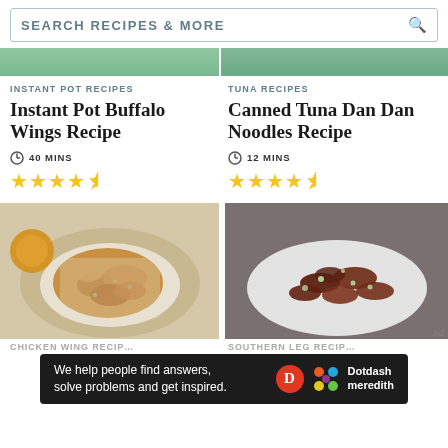SEARCH RECIPES & MORE
[Figure (photo): Partial top images of food recipes]
INSTANT POT RECIPES
Instant Pot Buffalo Wings Recipe
40 MINS
4.5 stars rating
TUNA RECIPES
Canned Tuna Dan Dan Noodles Recipe
12 MINS
4.5 stars rating
[Figure (photo): Instant Pot Buffalo Wings on a plate with sauce]
[Figure (photo): Glazed chicken wings on a white rectangular plate]
Ad
We help people find answers, solve problems and get inspired. Dotdash meredith